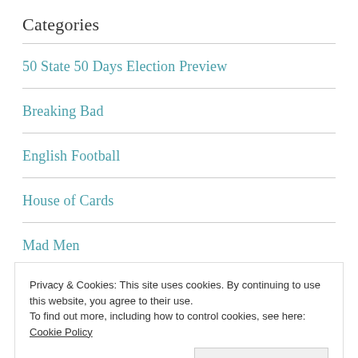Categories
50 State 50 Days Election Preview
Breaking Bad
English Football
House of Cards
Mad Men
MLS
Privacy & Cookies: This site uses cookies. By continuing to use this website, you agree to their use. To find out more, including how to control cookies, see here: Cookie Policy
Close and accept
Politics